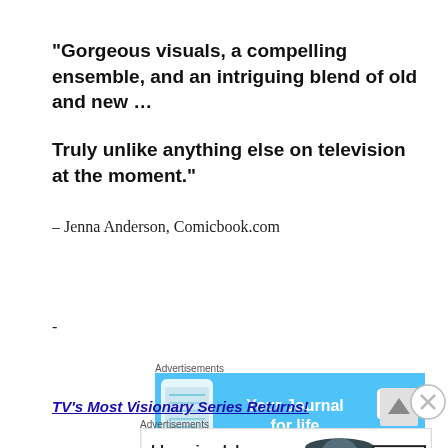“Gorgeous visuals, a compelling ensemble, and an intriguing blend of old and new …

Truly unlike anything else on television at the moment.”
– Jenna Anderson, Comicbook.com
-
Advertisements
[Figure (other): Advertisement banner for DayOne journal app with blue background, phone mockup on left, text 'Your Journal for life' in center, and DayOne logo on right]
REPORT THIS AD
TV’s Most Visionary Series Returns!
Advertisements
[Figure (other): Bloomingdale's advertisement with logo, 'View Today's Top Deals!' text, woman in hat photo, and 'SHOP NOW >' button]